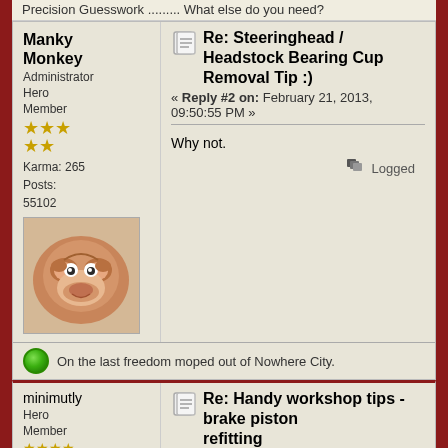Precision Guesswork ......... What else do you need?
Manky Monkey
Administrator Hero Member
Karma: 265
Posts: 55102
Re: Steeringhead / Headstock Bearing Cup Removal Tip :)
« Reply #2 on: February 21, 2013, 09:50:55 PM »
Why not.
Logged
On the last freedom moped out of Nowhere City.
minimutly
Hero Member
Karma: 20
Posts: 967
Re: Handy workshop tips - brake piston refitting
« Reply #3 on: November 08, 2015, 11:10:13 AM »
Ok, bit quiet this topic, so i thought id add one. Brake piston refitting. Once or twice i've had cause to rebuild a brake calliper. The single most difficult job ive found, after all the cleaning and polishing the bores is...